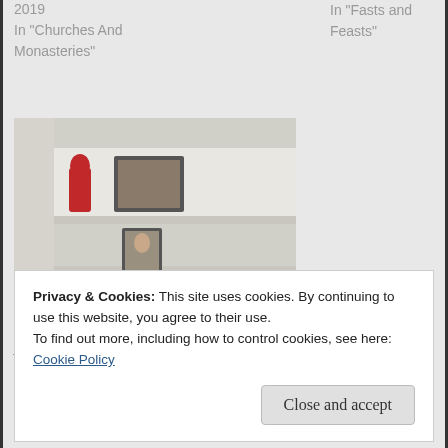2019
In "Churches And Monasteries"
In "Fasts and Feasts"
[Figure (photo): A photo of shelves with a red figurine, a framed picture, and another small portrait photograph below]
Twenty-four hours with St. Amphilochios (II)
October 26, 2018
In "20th century Saints"
Privacy & Cookies: This site uses cookies. By continuing to use this website, you agree to their use.
To find out more, including how to control cookies, see here:
Cookie Policy
Close and accept